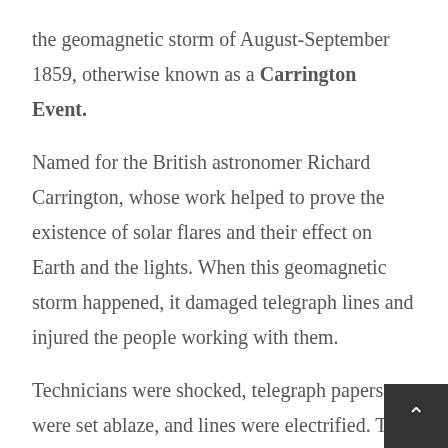the geomagnetic storm of August-September 1859, otherwise known as a Carrington Event.
Named for the British astronomer Richard Carrington, whose work helped to prove the existence of solar flares and their effect on Earth and the lights. When this geomagnetic storm happened, it damaged telegraph lines and injured the people working with them.
Technicians were shocked, telegraph papers were set ablaze, and lines were electrified. The Northern Lights were visible as far south as far as Hawaii and Cuba. On March 13th, 1989 a similar geomatic storm occurred, affecting the electrical